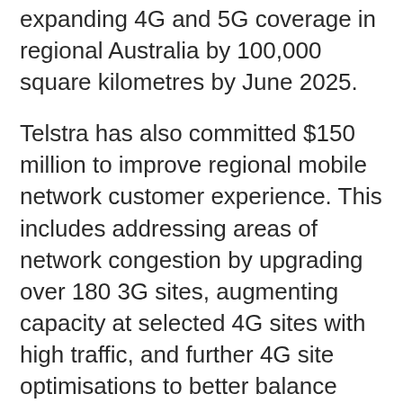expanding 4G and 5G coverage in regional Australia by 100,000 square kilometres by June 2025.
Telstra has also committed $150 million to improve regional mobile network customer experience. This includes addressing areas of network congestion by upgrading over 180 3G sites, augmenting capacity at selected 4G sites with high traffic, and further 4G site optimisations to better balance 3G/4G traffic and address localised customer demand
Mr Penn said that Connected Communities and the ongoing investment in infrastructure showed Telstra was working to build the